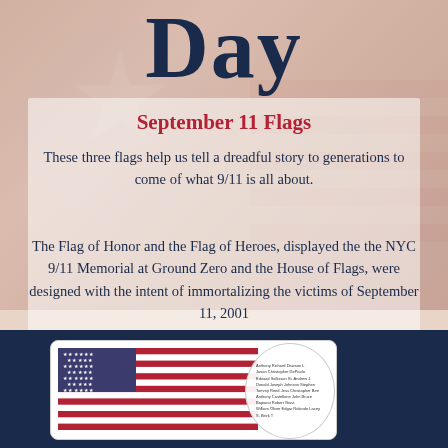Day
September 11 Flags
These three flags help us tell a dreadful story to generations to come of what 9/11 is all about.
The Flag of Honor and the Flag of Heroes, displayed the the NYC 9/11 Memorial at Ground Zero and the House of Flags, were designed with the intent of immortalizing the victims of September 11, 2001
[Figure (photo): Bottom section showing a dark navy background with a white card containing a US flag image on the left and a circular overlay with small names text on the right]